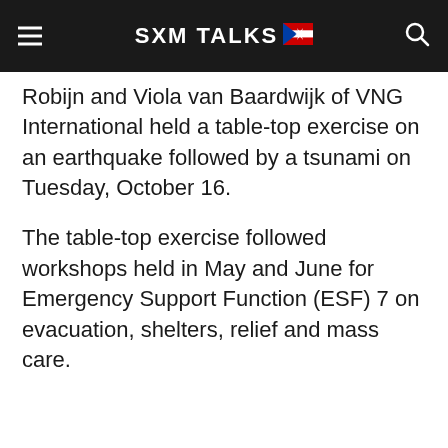SXM TALKS
Robijn and Viola van Baardwijk of VNG International held a table-top exercise on an earthquake followed by a tsunami on Tuesday, October 16.
The table-top exercise followed workshops held in May and June for Emergency Support Function (ESF) 7 on evacuation, shelters, relief and mass care.